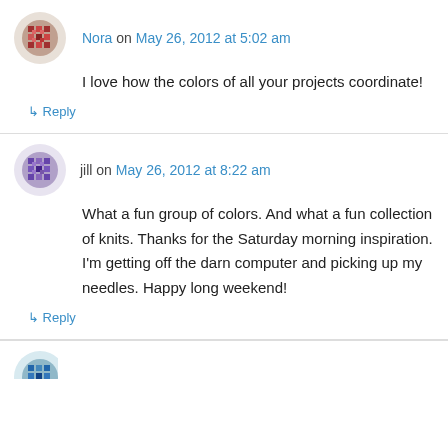[Figure (illustration): Avatar icon for user Nora - red/maroon pixelated square pattern]
Nora on May 26, 2012 at 5:02 am
I love how the colors of all your projects coordinate!
↳ Reply
[Figure (illustration): Avatar icon for user jill - purple pixelated square pattern]
jill on May 26, 2012 at 8:22 am
What a fun group of colors. And what a fun collection of knits. Thanks for the Saturday morning inspiration. I'm getting off the darn computer and picking up my needles. Happy long weekend!
↳ Reply
[Figure (illustration): Partial avatar icon visible at bottom of page - blue pixelated pattern]